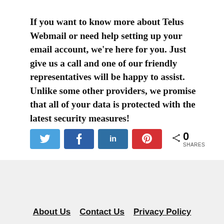If you want to know more about Telus Webmail or need help setting up your email account, we're here for you. Just give us a call and one of our friendly representatives will be happy to assist. Unlike some other providers, we promise that all of your data is protected with the latest security measures!
[Figure (other): Social sharing buttons: Twitter (blue), Facebook (dark blue), LinkedIn (medium blue), Pinterest (red), followed by a share count showing 0 SHARES]
About Us   Contact Us   Privacy Policy